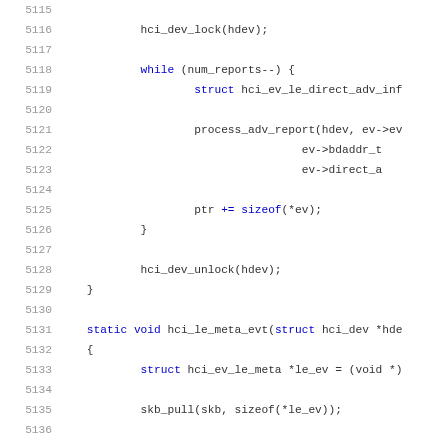Source code listing lines 5115-5136, showing C kernel HCI Bluetooth driver code
5115 (blank)
5116     hci_dev_lock(hdev);
5117 (blank)
5118     while (num_reports--) {
5119             struct hci_ev_le_direct_adv_inf
5120 (blank)
5121             process_adv_report(hdev, ev->ev
5122                                     ev->bdaddr_t
5123                                     ev->direct_a
5124 (blank)
5125             ptr += sizeof(*ev);
5126     }
5127 (blank)
5128     hci_dev_unlock(hdev);
5129 }
5130 (blank)
5131 static void hci_le_meta_evt(struct hci_dev *hde
5132 {
5133     struct hci_ev_le_meta *le_ev = (void *)
5134 (blank)
5135     skb_pull(skb, sizeof(*le_ev));
5136 (blank)